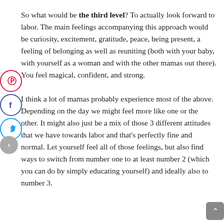So what would be the third level? To actually look forward to labor. The main feelings accompanying this approach would be curiosity, excitement, gratitude, peace, being present, a feeling of belonging as well as reuniting (both with your baby, with yourself as a woman and with the other mamas out there). You feel magical, confident, and strong.

I think a lot of mamas probably experience most of the above. Depending on the day we might feel more like one or the other. It might also just be a mix of those 3 different attitudes that we have towards labor and that's perfectly fine and normal. Let yourself feel all of those feelings, but also find ways to switch from number one to at least number 2 (which you can do by simply educating yourself) and ideally also to number 3.